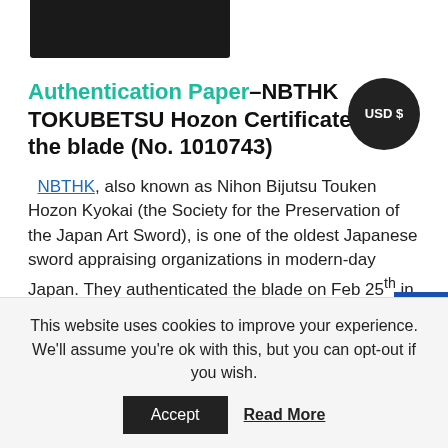[Figure (photo): Dark/black object (sword or blade) partially visible at top of page]
Authentication Paper–NBTHK TOKUBETSU Hozon Certificate for the blade (No. 1010743)
NBTHK, also known as Nihon Bijutsu Touken Hozon Kyokai (the Society for the Preservation of the Japan Art Sword), is one of the oldest Japanese sword appraising organizations in modern-day Japan. They authenticated the blade on Feb 25th in the 31st year of Heisei (2019). They appraised it as Tokubetsu Hozon Touken, the blade especially worth preserving for Japanese society. The...
This website uses cookies to improve your experience. We'll assume you're ok with this, but you can opt-out if you wish.
Accept   Read More